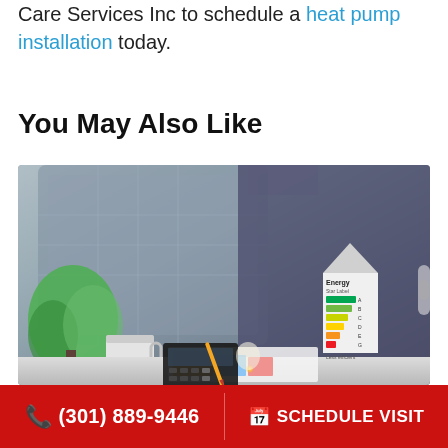Care Services Inc to schedule a heat pump installation today.
You May Also Like
[Figure (photo): Person sitting at a desk with a calculator, papers with colorful charts, a white cup, and a green plant. On the right side is a miniature house model displaying an energy efficiency rating chart with colored bars from green (most efficient) to red (least efficient) with labels 'Energy Star Label'. A glowing light bulb is also visible on the desk.]
(301) 889-9446   SCHEDULE VISIT